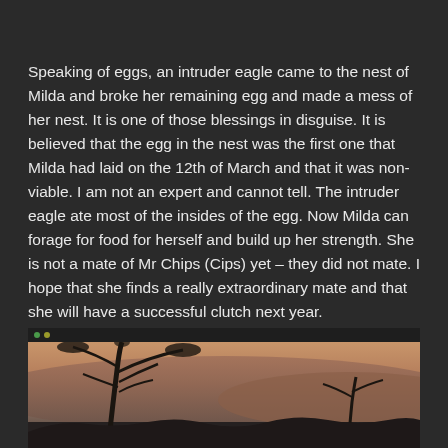Speaking of eggs, an intruder eagle came to the nest of Milda and broke her remaining egg and made a mess of her nest. It is one of those blessings in disguise. It is believed that the egg in the nest was the first one that Milda had laid on the 12th of March and that it was non-viable. I am not an expert and cannot tell. The intruder eagle ate most of the insides of the egg. Now Milda can forage for food for herself and build up her strength. She is not a mate of Mr Chips (Cips) yet – they did not mate. I hope that she finds a really extraordinary mate and that she will have a successful clutch next year.
[Figure (photo): A screenshot of a nature/wildlife camera feed showing a tree silhouette against a landscape with reddish-brown hills or cliffs in the background, taken at dawn or dusk.]